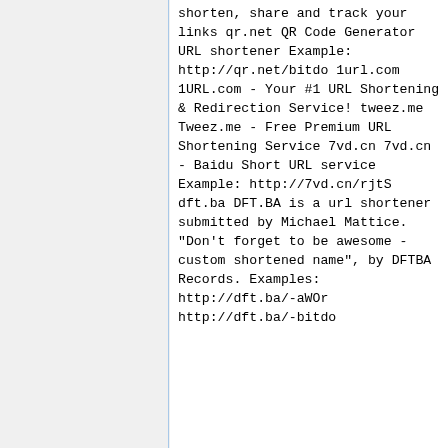shorten, share and track your links
qr.net  QR Code Generator URL shortener
Example: http://qr.net/bitdo
1url.com        1URL.com - Your #1 URL Shortening & Redirection Service!
tweez.me        Tweez.me - Free Premium URL Shortening Service
7vd.cn  7vd.cn - Baidu Short URL service
Example: http://7vd.cn/rjtS
dft.ba  DFT.BA is a url shortener submitted by Michael Mattice. "Don't forget to be awesome - custom shortened name", by DFTBA Records.
Examples:
http://dft.ba/-aWOr
http://dft.ba/-bitdo